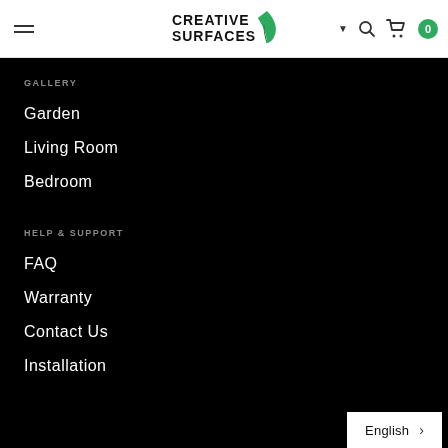Creative Surfaces navigation bar with hamburger menu, logo, chevron, search, cart, and badge 0
GALLERY
Garden
Living Room
Bedroom
HELP & SUPPORT
FAQ
Warranty
Contact Us
Installation
English >